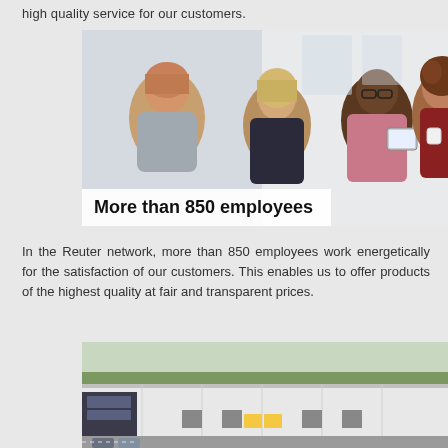high quality service for our customers.
[Figure (photo): Four diverse colleagues smiling and having a discussion in an office setting; one holds a tablet. Overlay text: 'More than 850 employees']
In the Reuter network, more than 850 employees work energetically for the satisfaction of our customers. This enables us to offer products of the highest quality at fair and transparent prices.
[Figure (photo): Aerial view of a large industrial warehouse/logistics building with a parking area and surrounding farmland.]